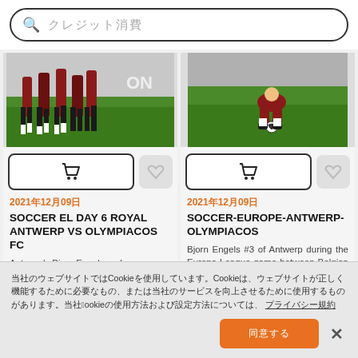[Figure (screenshot): Search bar with magnifying glass icon and placeholder text in Japanese/Chinese characters]
[Figure (photo): Soccer players legs on a green field, multiple players grouped together]
[Figure (photo): Soccer player in red uniform on green field, bending down near ball]
[Figure (other): Shopping cart button and star/favorite button for first card]
[Figure (other): Shopping cart button and star/favorite button for second card]
2021年12月09日
2021年12月09日
SOCCER EL DAY 6 ROYAL ANTWERP VS OLYMPIACOS FC
SOCCER-EUROPE-ANTWERP-OLYMPIACOS
Antwerp's Bjorn Engels and Olympiacos' Sokratis
Bjorn Engels #3 of Antwerp during the Europa League game between Belgian soccer team Royal Antwe...
当社のウェブサイトではCookieを使用しています。Cookieは、ウェブサイトが正しく機能するために必要なもの、または当社のサービスを向上させるために使用するものがあります。当社のCookieの使用方法および設定方法については、 プライバシー規約
[Figure (other): Cookie consent banner with accept button and close X button]